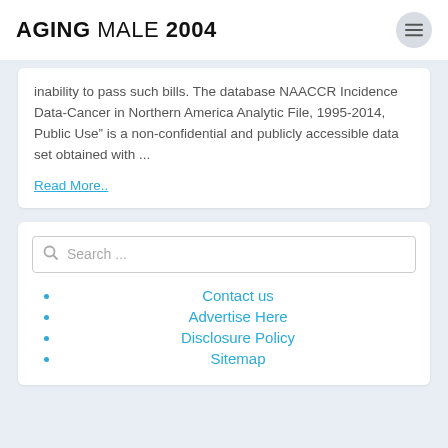AGING MALE 2004
inability to pass such bills. The database NAACCR Incidence Data-Cancer in Northern America Analytic File, 1995-2014, Public Use” is a non-confidential and publicly accessible data set obtained with ...
Read More..
Search ...
Contact us
Advertise Here
Disclosure Policy
Sitemap